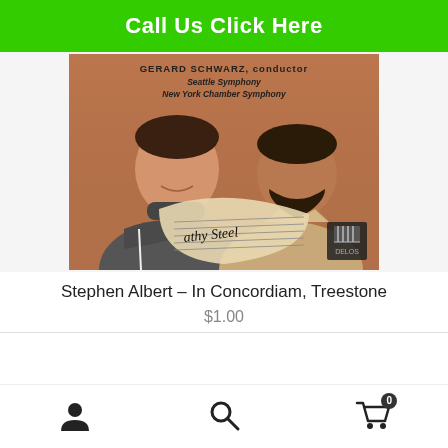Call Us Click Here
[Figure (photo): Album cover photo showing two men (Gerard Schwarz and Stephen Albert) looking at a musical score. Text on cover reads: GERARD SCHWARZ, conductor / Seattle Symphony / New York Chamber Symphony. A handwritten signature is visible on the score. Delos record label logo in bottom right.]
Stephen Albert – In Concordiam, Treestone
$1.00
Navigation bar with user icon, search icon, and cart icon (0 items)